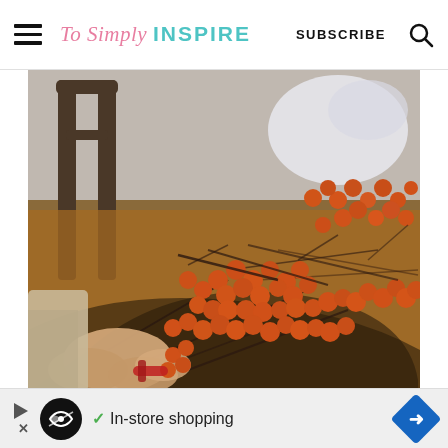To Simply INSPIRE   SUBSCRIBE
[Figure (photo): Hands working on arranging orange berry branches/stems on a dark wooden table to make a wreath, with a wooden chair and plastic bag visible in the background.]
In-store shopping